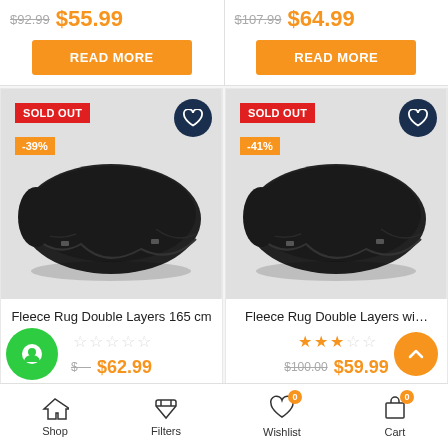$92.99  $55.99
READ MORE
$107.99  $64.99
READ MORE
SOLD OUT  -39%
[Figure (photo): Black fleece horse rug draped over a horse, shown from the side on white background]
Fleece Rug Double Layers 165 cm
$62.99
SOLD OUT  -41%
[Figure (photo): Black fleece horse rug draped over a horse, shown from the side on white background]
Fleece Rug Double Layers wi...
$59.99
Shop  Filters  Wishlist 0  Cart 0